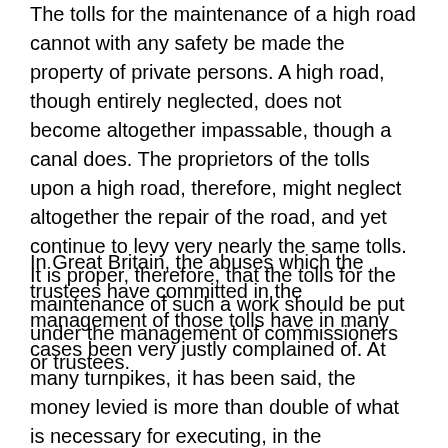The tolls for the maintenance of a high road cannot with any safety be made the property of private persons. A high road, though entirely neglected, does not become altogether impassable, though a canal does. The proprietors of the tolls upon a high road, therefore, might neglect altogether the repair of the road, and yet continue to levy very nearly the same tolls. It is proper, therefore, that the tolls for the maintenance of such a work should be put under the management of commissioners or trustees.
In Great Britain, the abuses which the trustees have committed in the management of those tolls have in many cases been very justly complained of. At many turnpikes, it has been said, the money levied is more than double of what is necessary for executing, in the completest manner, the work which is often executed in very slovenly manner, and sometimes not executed at all. The system of repairing the high roads by tolls of this kind, it must be observed, is not of very long standing. We should not wonder, therefore, if it has not yet been brought to that degree of perfection of